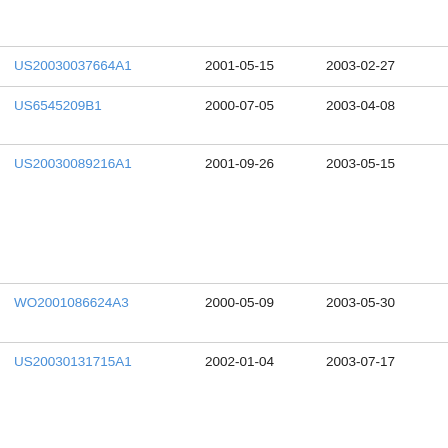| Patent Number | Filing Date | Publication Date | Assignee |
| --- | --- | --- | --- |
|  |  |  | Bu…
Cor… |
| US20030037664A1 | 2001-05-15 | 2003-02-27 | Nin… |
| US6545209B1 | 2000-07-05 | 2003-04-08 | Mic…
Cor… |
| US20030089216A1 | 2001-09-26 | 2003-05-15 | Birn…
P. |
| WO2001086624A3 | 2000-05-09 | 2003-05-30 | Vie…
Lib… |
| US20030131715A1 | 2002-01-04 | 2003-07-17 | Ala… |